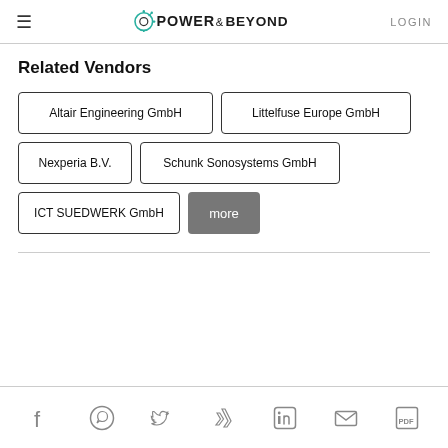Power & Beyond — LOGIN
Related Vendors
Altair Engineering GmbH
Littelfuse Europe GmbH
Nexperia B.V.
Schunk Sonosystems GmbH
ICT SUEDWERK GmbH
more
Social icons: Facebook, WhatsApp, Twitter, Xing, LinkedIn, Email, PDF